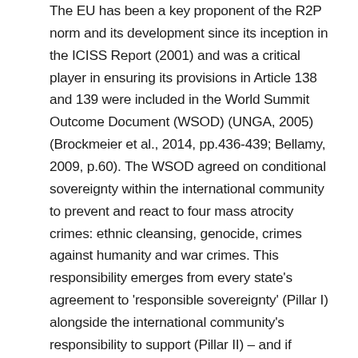The EU has been a key proponent of the R2P norm and its development since its inception in the ICISS Report (2001) and was a critical player in ensuring its provisions in Article 138 and 139 were included in the World Summit Outcome Document (WSOD) (UNGA, 2005)(Brockmeier et al., 2014, pp.436-439; Bellamy, 2009, p.60). The WSOD agreed on conditional sovereignty within the international community to prevent and react to four mass atrocity crimes: ethnic cleansing, genocide, crimes against humanity and war crimes. This responsibility emerges from every state's agreement to 'responsible sovereignty' (Pillar I) alongside the international community's responsibility to support (Pillar II) – and if necessary, intervene (Pillar III) – if other states are 'manifestly failing' to protect their citizens, otherwise articulated as the 'Three Pillars of R2P' (UNSG, 2009). R2P has been and remains a 'contested' norm without definitive meaning (Welsh, 2013). The EU has been a prominent voice at the